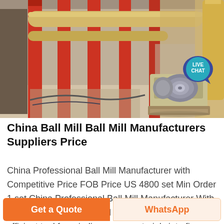[Figure (photo): Industrial ball mill facility interior showing red steel columns, yellow pipes/ductwork, machinery, concrete floor, and an electric motor/blower unit on a wooden skid. A 'LIVE CHAT' speech bubble badge is overlaid in the top-right area.]
China Ball Mill Ball Mill Manufacturers Suppliers Price
China Professional Ball Mill Manufacturer with Competitive Price FOB Price US 4800 set Min Order 1 set China Professional Ball Mill Manufacturer With Competitive Price Ball Mill Application Ball mill is an efficient tool for grinding many materials into fine